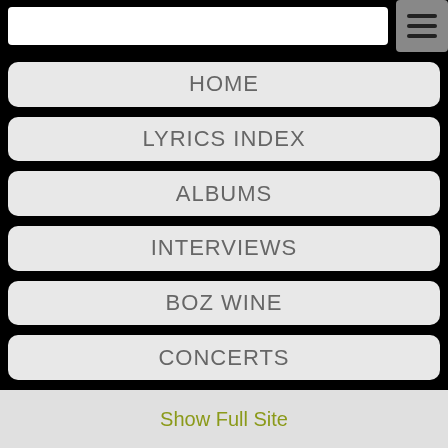[Figure (screenshot): Search box and hamburger menu icon at the top of a mobile navigation page]
HOME
LYRICS INDEX
ALBUMS
INTERVIEWS
BOZ WINE
CONCERTS
Show Full Site